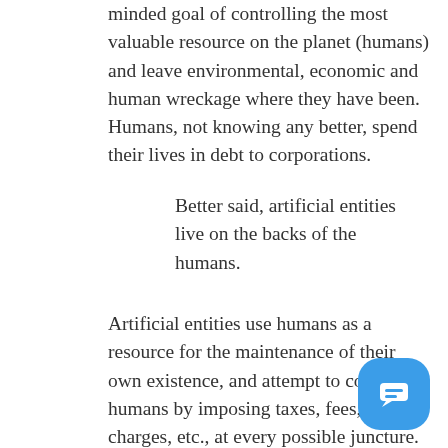minded goal of controlling the most valuable resource on the planet (humans) and leave environmental, economic and human wreckage where they have been.  Humans, not knowing any better, spend their lives in debt to corporations.
Better said, artificial entities live on the backs of the humans.
Artificial entities use humans as a resource for the maintenance of their own existence, and attempt to control humans by imposing taxes, fees, interest charges, etc., at every possible juncture. Artificial entities attempt to control humans by enforcing regulations actually designed to regulate “persons.”** Humans produce and artificial entities with “statutes in hand” attempt to manipulate the production of humans unaware that humans are actually at the top of the pecking order. As this